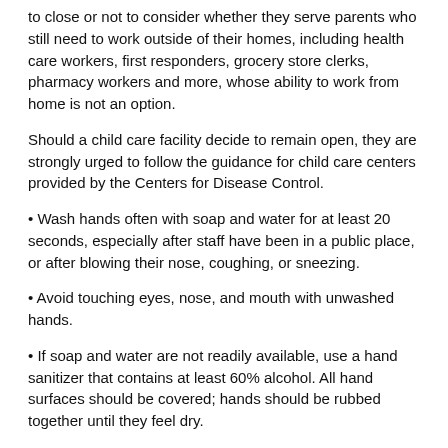to close or not to consider whether they serve parents who still need to work outside of their homes, including health care workers, first responders, grocery store clerks, pharmacy workers and more, whose ability to work from home is not an option.
Should a child care facility decide to remain open, they are strongly urged to follow the guidance for child care centers provided by the Centers for Disease Control.
• Wash hands often with soap and water for at least 20 seconds, especially after staff have been in a public place, or after blowing their nose, coughing, or sneezing.
• Avoid touching eyes, nose, and mouth with unwashed hands.
• If soap and water are not readily available, use a hand sanitizer that contains at least 60% alcohol. All hand surfaces should be covered; hands should be rubbed together until they feel dry.